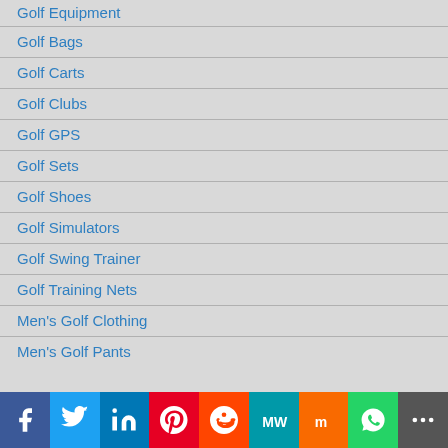Golf Equipment
Golf Bags
Golf Carts
Golf Clubs
Golf GPS
Golf Sets
Golf Shoes
Golf Simulators
Golf Swing Trainer
Golf Training Nets
Men's Golf Clothing
Men's Golf Pants